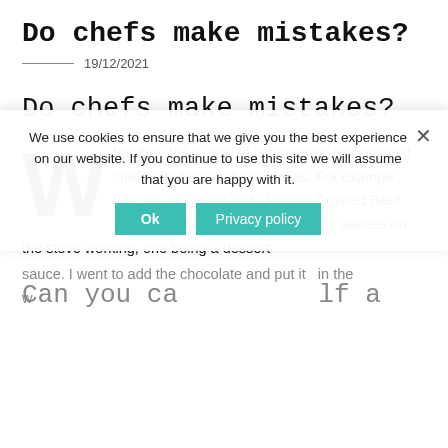Do chefs make mistakes?
19/12/2021
Do chefs make mistakes?
What they fail to realize is that even professional chefs regularly make mistakes. For example, take my signature dish: Porcini-Crusted Beef with Chocolate Port Sauce. I had 3 sauces on the stove working, one being a dessert sauce. I went to add the chocolate and put it in the w...
We use cookies to ensure that we give you the best experience on our website. If you continue to use this site we will assume that you are happy with it.
Can you call yourself a